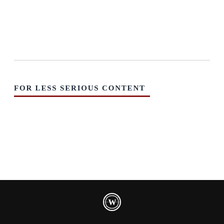FOR LESS SERIOUS CONTENT
WordPress logo